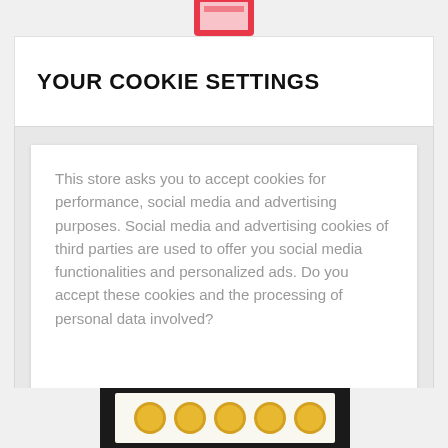[Figure (photo): Partial product image at top, cookie or candy packaging visible at top center]
YOUR COOKIE SETTINGS
This store asks you to accept cookies for performance, social media and advertising purposes. Social media and advertising cookies of third parties are used to offer you social media functionalities and personalized ads. Do you accept these cookies and the processing of personal data involved?
YES, I ACCEPT
More information
[Figure (photo): Partial product image at bottom showing cookies/biscuits on a tray]